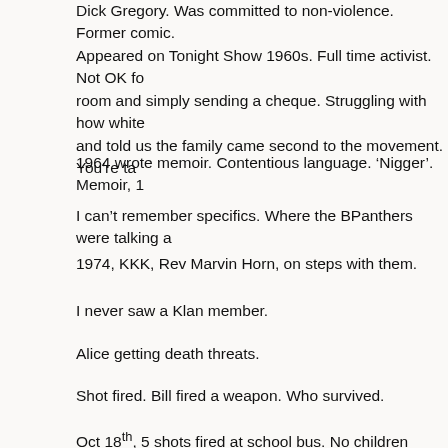Dick Gregory. Was committed to non-violence. Former comic. Appeared on Tonight Show 1960s. Full time activist. Not OK for room and simply sending a cheque. Struggling with how white and told us the family came second to the movement. You're ta
1964 wrote memoir. Contentious language. ‘Nigger’. Memoir, 1
I can’t remember specifics. Where the BPanthers were talking a
1974, KKK, Rev Marvin Horn, on steps with them.
I never saw a Klan member.
Alice getting death threats.
Shot fired. Bill fired a weapon. Who survived.
Oct 18th, 5 shots fired at school bus. No children aboard. Bomb
Midway Elementary School. Dynamite before sunrise.
Levity in Alice’s voice. Skip first shot by pro-text book advocate
Martin H, visited for Swann School, stayed to the d...